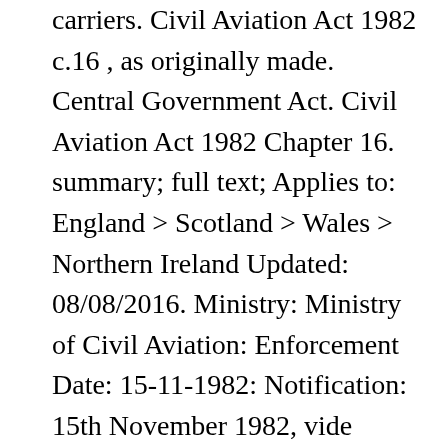carriers. Civil Aviation Act 1982 c.16 , as originally made. Central Government Act. Civil Aviation Act 1982 Chapter 16. summary; full text; Applies to: England > Scotland > Wales > Northern Ireland Updated: 08/08/2016. Ministry: Ministry of Civil Aviation: Enforcement Date: 15-11-1982: Notification: 15th November 1982, vide notification No. The Aviation Security Act 1982 is an Act of Parliament of the United Kingdom Parliament which covers offences against the safety of aircraft; protection of aircraft, aerodromes, and air navigation installations against acts of violence; policing of airports; and funding. (3) It shall come into force at once. S.O. the Civil Aviation Act 1982 (an Act of Parliament)1 as it